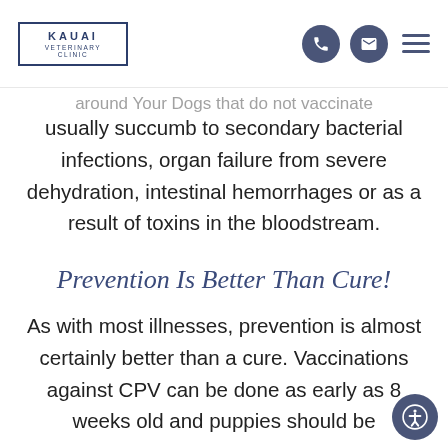KAUAI VETERINARY CLINIC
around Your Dog that do not...
usually succumb to secondary bacterial infections, organ failure from severe dehydration, intestinal hemorrhages or as a result of toxins in the bloodstream.
Prevention Is Better Than Cure!
As with most illnesses, prevention is almost certainly better than a cure. Vaccinations against CPV can be done as early as 8 weeks old and puppies should be